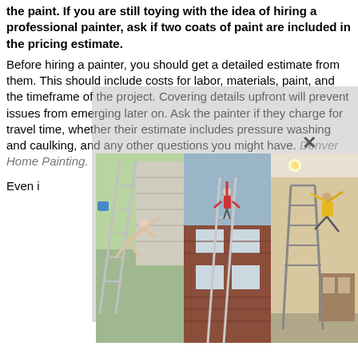the paint. If you are still toying with the idea of hiring a professional painter, ask if two coats of paint are included in the pricing estimate.
Before hiring a painter, you should get a detailed estimate from them. This should include costs for labor, materials, paint, and the timeframe of the project. Covering details upfront will prevent issues from emerging later on. Ask the painter if they charge for travel time, whether their estimate includes pressure washing and caulking, and any other questions you might have. Denver Home Painting.
Even i... play a s...
Use a r... the 'W method'... n the wall. Th... nt a wall sec... sults. It's gene... instead of standing on a ladder. Make sure that neither the extension pole nor the roller has plastic handles, as plastic handles are flexible and this makes it difficult to control the painting.
You'll spend between $500 and $3,000 or $1 to $3.50 per square foot to paint concrete. However, expect to pay $2 to
[Figure (photo): Three side-by-side photos showing ladder/painting related scenes: left shows a person on an angled ladder outdoors near a house, center shows a person hanging from a ladder on a brick house exterior, right shows a person in a yellow shirt on a ladder indoors.]